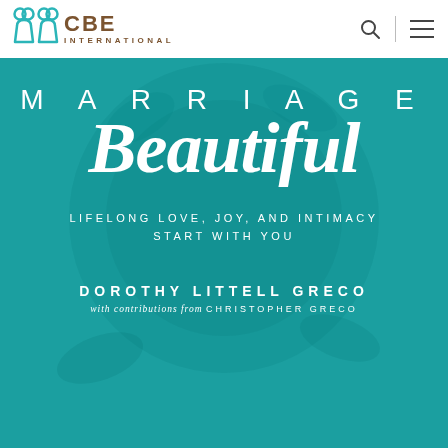CBE INTERNATIONAL
[Figure (illustration): Book cover for 'Marriage Beautiful: Lifelong Love, Joy, and Intimacy Start With You' by Dorothy Littell Greco, with contributions from Christopher Greco. Teal/turquoise background with white text and decorative floral elements.]